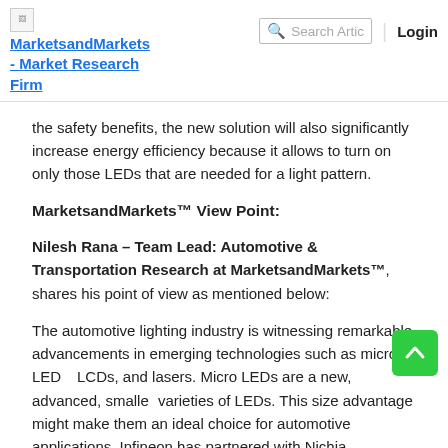MarketsandMarkets - Market Research Firm | Search Artic | Login
the safety benefits, the new solution will also significantly increase energy efficiency because it allows to turn on only those LEDs that are needed for a light pattern.
MarketsandMarkets™ View Point:
Nilesh Rana – Team Lead: Automotive & Transportation Research at MarketsandMarkets™, shares his point of view as mentioned below:
The automotive lighting industry is witnessing remarkable advancements in emerging technologies such as micro-LEDs, LCDs, and lasers. Micro LEDs are a new, advanced, smaller varieties of LEDs. This size advantage might make them an ideal choice for automotive applications. Infineon has partnered with Nichia Corporation to add further momentum to the development of adaptive lighting technologies. Their HD lighting with more than 16,000 micro-LED drivers significantly